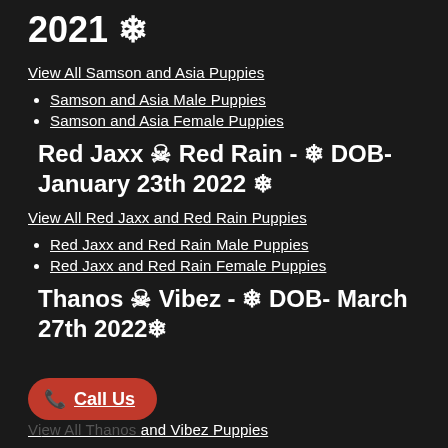2021 ❄
View All Samson and Asia Puppies
Samson and Asia Male Puppies
Samson and Asia Female Puppies
Red Jaxx 💀 Red Rain - ❄ DOB- January 23th 2022 ❄
View All Red Jaxx and Red Rain Puppies
Red Jaxx and Red Rain Male Puppies
Red Jaxx and Red Rain Female Puppies
Thanos 💀 Vibez - ❄ DOB- March 27th 2022❄
View All Thanos and Vibez Puppies